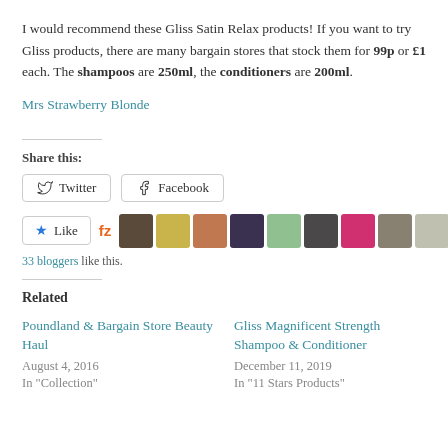I would recommend these Gliss Satin Relax products! If you want to try Gliss products, there are many bargain stores that stock them for 99p or £1 each. The shampoos are 250ml, the conditioners are 200ml.
Mrs Strawberry Blonde
Share this:
[Figure (screenshot): Share buttons: Twitter and Facebook]
[Figure (screenshot): Like button with star icon, fz logo, and 10 blogger avatar thumbnails]
33 bloggers like this.
Related
Poundland & Bargain Store Beauty Haul
August 4, 2016
In "Collection"
Gliss Magnificent Strength Shampoo & Conditioner
December 11, 2019
In "11 Stars Products"